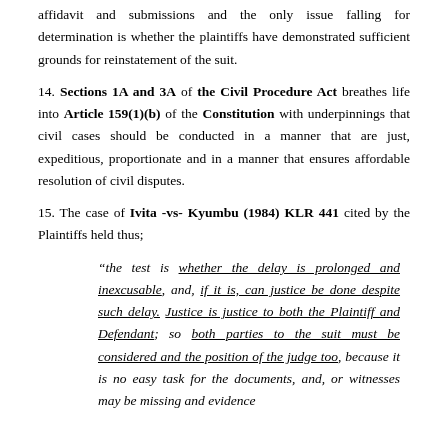affidavit and submissions and the only issue falling for determination is whether the plaintiffs have demonstrated sufficient grounds for reinstatement of the suit.
14. Sections 1A and 3A of the Civil Procedure Act breathes life into Article 159(1)(b) of the Constitution with underpinnings that civil cases should be conducted in a manner that are just, expeditious, proportionate and in a manner that ensures affordable resolution of civil disputes.
15. The case of Ivita -vs- Kyumbu (1984) KLR 441 cited by the Plaintiffs held thus;
“the test is whether the delay is prolonged and inexcusable, and, if it is, can justice be done despite such delay. Justice is justice to both the Plaintiff and Defendant; so both parties to the suit must be considered and the position of the judge too, because it is no easy task for the documents, and, or witnesses may be missing and evidence